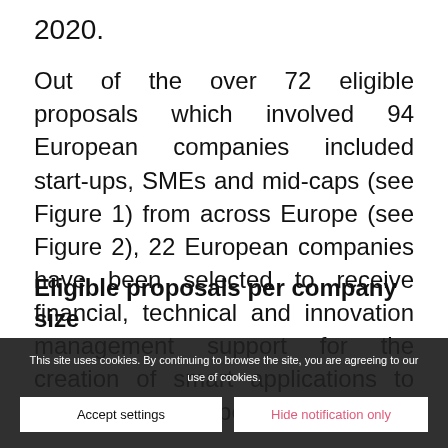2020.
Out of the over 72 eligible proposals which involved 94 European companies included start-ups, SMEs and mid-caps (see Figure 1) from across Europe (see Figure 2), 22 European companies have been selected to receive financial, technical and innovation management support for the creation of smart applications to help digitise European Industry.
Eligible proposals per company size
This site uses cookies. By continuing to browse the site, you are agreeing to our use of cookies.